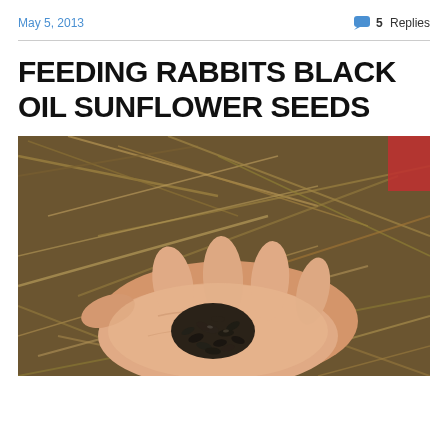May 5, 2013    5 Replies
FEEDING RABBITS BLACK OIL SUNFLOWER SEEDS
[Figure (photo): A hand holding a small handful of black oil sunflower seeds, with hay/straw in the background and a red object partially visible in the upper right corner.]